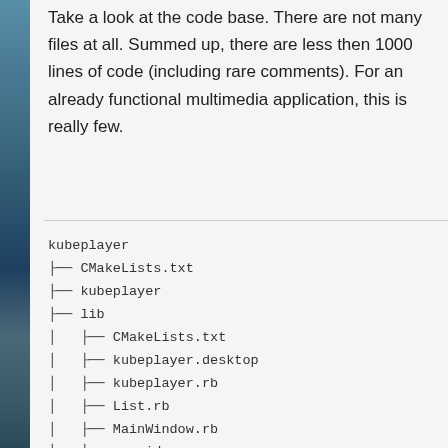Take a look at the code base. There are not many files at all. Summed up, there are less then 1000 lines of code (including rare comments). For an already functional multimedia application, this is really few.
kubeplayer
├── CMakeLists.txt
├── kubeplayer
├── lib
│   ├── CMakeLists.txt
│   ├── kubeplayer.desktop
│   ├── kubeplayer.rb
│   ├── List.rb
│   ├── MainWindow.rb
│   ├── provider
│   │   └── youtube
│   │       └── Youtube.rb
│   └── Video.rb
├── main.rb
└── README.rdoc